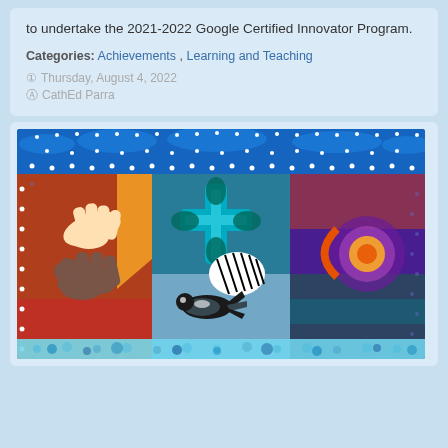to undertake the 2021-2022 Google Certified Innovator Program.
Categories: Achievements , Learning and Teaching
Thursday, August 4, 2022
CathEd Parra
[Figure (illustration): Colorful Indigenous-style artwork depicting hands, a fantail bird, a flower/cross motif, and decorative patterns in vivid blues, oranges, yellows, greens and purples on a dark blue dotted background.]